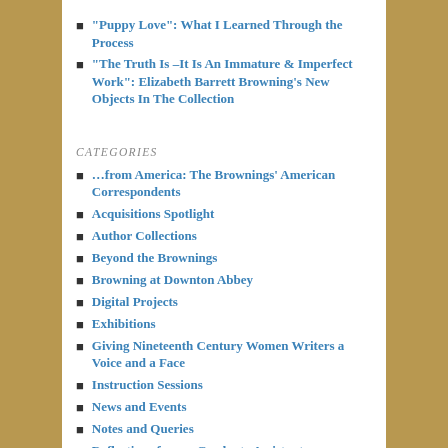“Puppy Love”: What I Learned Through the Process
“The Truth Is –It Is An Immature & Imperfect Work”: Elizabeth Barrett Browning’s New Objects In The Collection
CATEGORIES
…from America: The Brownings’ American Correspondents
Acquisitions Spotlight
Author Collections
Beyond the Brownings
Browning at Downton Abbey
Digital Projects
Exhibitions
Giving Nineteenth Century Women Writers a Voice and a Face
Instruction Sessions
News and Events
Notes and Queries
Reflections from a Graduate Assistant
Reflections from a Visiting Scholar
The Browning Letters Project